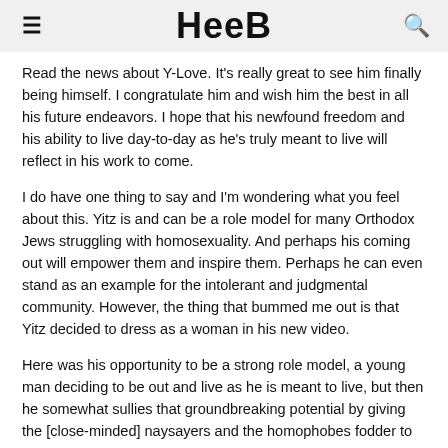HEEB
Read the news about Y-Love. It's really great to see him finally being himself. I congratulate him and wish him the best in all his future endeavors. I hope that his newfound freedom and his ability to live day-to-day as he's truly meant to live will reflect in his work to come.
I do have one thing to say and I'm wondering what you feel about this. Yitz is and can be a role model for many Orthodox Jews struggling with homosexuality. And perhaps his coming out will empower them and inspire them. Perhaps he can even stand as an example for the intolerant and judgmental community. However, the thing that bummed me out is that Yitz decided to dress as a woman in his new video.
Here was his opportunity to be a strong role model, a young man deciding to be out and live as he is meant to live, but then he somewhat sullies that groundbreaking potential by giving the [close-minded] naysayers and the homophobes fodder to dismiss it all. Why can't someone function in our world as a gay man? I would say he can, yet while homosexuality is very